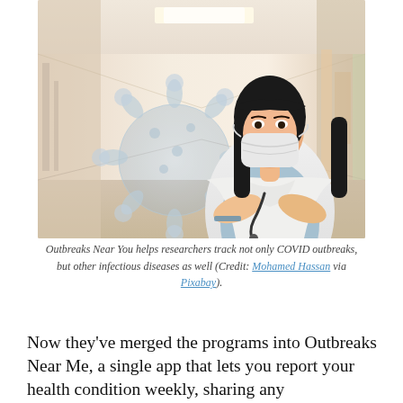[Figure (photo): A healthcare worker wearing a white lab coat and face mask, arms crossed, standing in a hospital corridor. A translucent 3D coronavirus model is overlaid on the left side of the image.]
Outbreaks Near You helps researchers track not only COVID outbreaks, but other infectious diseases as well (Credit: Mohamed Hassan via Pixabay).
Now they've merged the programs into Outbreaks Near Me, a single app that lets you report your health condition weekly, sharing any